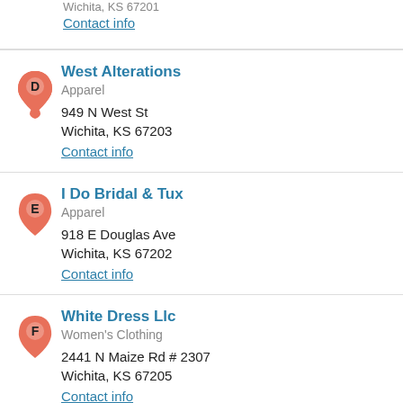Wichita, KS 67201
Contact info
West Alterations | Apparel | 949 N West St, Wichita, KS 67203 | Contact info
I Do Bridal & Tux | Apparel | 918 E Douglas Ave, Wichita, KS 67202 | Contact info
White Dress Llc | Women's Clothing | 2441 N Maize Rd # 2307, Wichita, KS 67205 | Contact info
Slope Ski Shop | Sports Events | 2100 E Central Ave